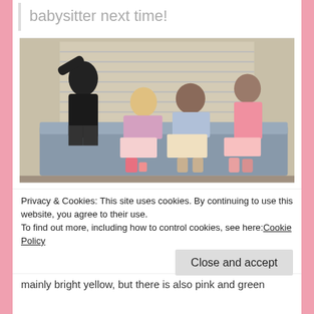babysitter next time!
[Figure (photo): Indoor scene with multiple people on a couch/sofa]
Privacy & Cookies: This site uses cookies. By continuing to use this website, you agree to their use.
To find out more, including how to control cookies, see here: Cookie Policy
Close and accept
mainly bright yellow, but there is also pink and green